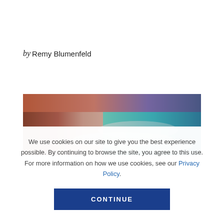by Remy Blumenfeld
[Figure (photo): A coastal landscape photo showing reddish-brown cliffs or terrain on the left and turquoise ocean waves on the right, with a dramatic sky in warm and cool tones.]
We use cookies on our site to give you the best experience possible. By continuing to browse the site, you agree to this use. For more information on how we use cookies, see our Privacy Policy.
CONTINUE